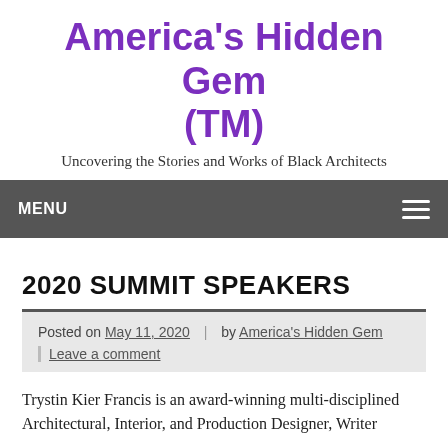America's Hidden Gem (TM)
Uncovering the Stories and Works of Black Architects
MENU
2020 SUMMIT SPEAKERS
Posted on May 11, 2020  |  by America's Hidden Gem  |  Leave a comment
Trystin Kier Francis is an award-winning multi-disciplined Architectural, Interior, and Production Designer, Writer